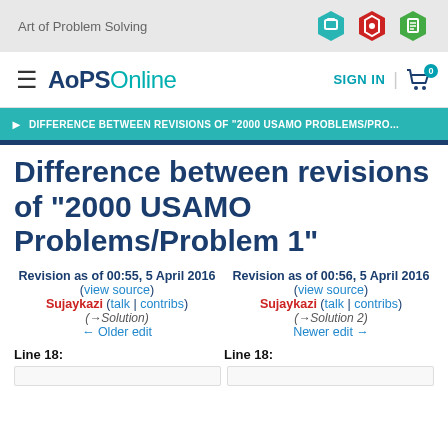Art of Problem Solving
AoPS Online | SIGN IN | Cart 0
DIFFERENCE BETWEEN REVISIONS OF "2000 USAMO PROBLEMS/PRO...
Difference between revisions of "2000 USAMO Problems/Problem 1"
Revision as of 00:55, 5 April 2016 (view source) Sujaykazi (talk | contribs) (→Solution) ← Older edit
Revision as of 00:56, 5 April 2016 (view source) Sujaykazi (talk | contribs) (→Solution 2) Newer edit →
Line 18:
Line 18: